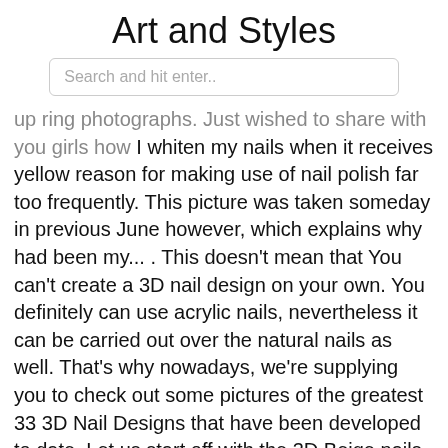Art and Styles
Search and hit enter..
up ring photographs. Just wished to share with you girls how I whiten my nails when it receives yellow reason for making use of nail polish far too frequently. This picture was taken someday in previous June however, which explains why had been my... . This doesn't mean that You can't create a 3D nail design on your own. You definitely can use acrylic nails, nevertheless it can be carried out over the natural nails as well. That's why nowadays, we're supplying you to check out some pictures of the greatest 33 3D Nail Designs that have been developed to date. Let us start off with the 3D Beige nails. Fireplace at your fingertips! Now you might have flames with your fingers with this manicure. Start off this flame nail artwork with a yellow base. Simplicity is magnificence as they usually say. This is because the easier you go, the greater your real beauty shines. A moon mani doesn't need to just become a French manicure choice. In actual fact, it can be achieved with brighter hues to generate rather an announcement. Steph established the appear on